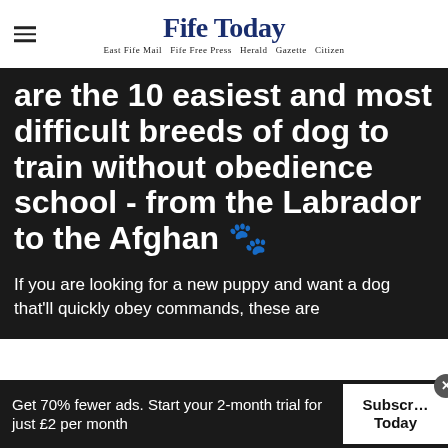Fife Today — East Fife Mail  Fife Free Press  Herald  Gazette  Citizen
are the 10 easiest and most difficult breeds of dog to train without obedience school - from the Labrador to the Afghan 🐾
If you are looking for a new puppy and want a dog that'll quickly obey commands, these are
Get 70% fewer ads. Start your 2-month trial for just £2 per month
Subscribe Today